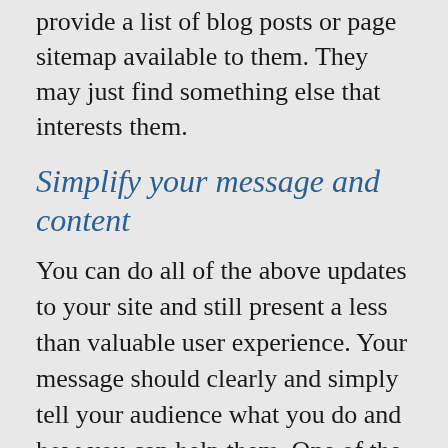regularly. Also modify your 404 page to at least provide a list of blog posts or page sitemap available to them. They may just find something else that interests them.
Simplify your message and content
You can do all of the above updates to your site and still present a less than valuable user experience. Your message should clearly and simply tell your audience what you do and how you can help them. One of the biggest website design mistakes small businesses make is to have their homepage be about them, not the audience they are trying to attract.
Spend time working on your message. Then make sure your homepage delivers that